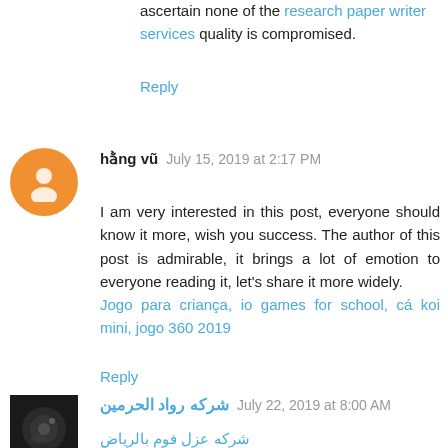ascertain none of the research paper writer services quality is compromised.
Reply
hằng vũ  July 15, 2019 at 2:17 PM
I am very interested in this post, everyone should know it more, wish you success. The author of this post is admirable, it brings a lot of emotion to everyone reading it, let's share it more widely.
Jogo para criança, io games for school, cá koi mini, jogo 360 2019
Reply
شركه رواد الحرمين  July 22, 2019 at 8:00 AM
شركه عزل فوم بالرياض
أيضاً تسبب في سقوط الطلاء وظهور التشققات، ولكن من الآن لا داعي